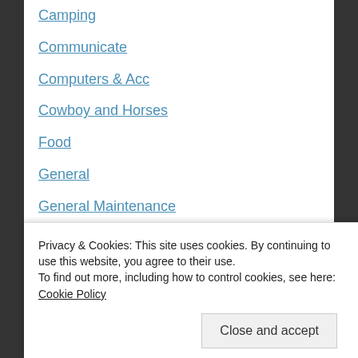Camping
Communicate
Computers & Acc
Cowboy and Horses
Food
General
General Maintenance
Health and Medical
Humour
Leather Making
Medicine
News
Privacy & Cookies: This site uses cookies. By continuing to use this website, you agree to their use.
To find out more, including how to control cookies, see here: Cookie Policy
Close and accept